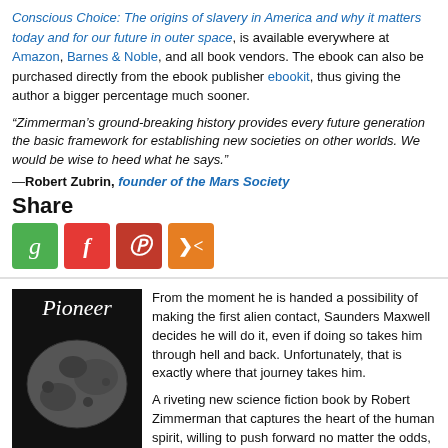Conscious Choice: The origins of slavery in America and why it matters today and for our future in outer space, is available everywhere at Amazon, Barnes & Noble, and all book vendors. The ebook can also be purchased directly from the ebook publisher ebookit, thus giving the author a bigger percentage much sooner.
“Zimmerman’s ground-breaking history provides every future generation the basic framework for establishing new societies on other worlds. We would be wise to heed what he says.” —Robert Zubrin, founder of the Mars Society
Share
[Figure (infographic): Four social share buttons: green G, red F (italic), dark red P (Parler), and orange share icon]
[Figure (illustration): Book cover for Pioneer by Robert Zimmerman: dark background with asteroid image, white italic title text and gray author name at bottom]
From the moment he is handed a possibility of making the first alien contact, Saunders Maxwell decides he will do it, even if doing so takes him through hell and back. Unfortunately, that is exactly where that journey takes him.
A riveting new science fiction book by Robert Zimmerman that captures the heart of the human spirit, willing to push forward no matter the odds, no matter the cost.
Available everywhere for $3.99 (before discount) at amazon, Barnes & Noble, all ebook vendors, or direct from my ebook publisher, ebookit.
So now I stand on earthside shore,
And wonder what I am.
I must go out and find my home.
The journey's what I am.